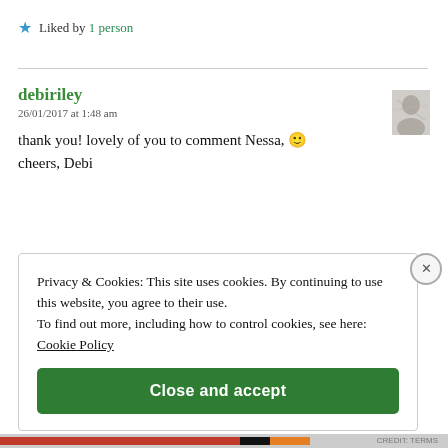★ Liked by 1 person
debiriley
26/01/2017 at 1:48 am
thank you! lovely of you to comment Nessa, 🙂 cheers, Debi
Privacy & Cookies: This site uses cookies. By continuing to use this website, you agree to their use. To find out more, including how to control cookies, see here: Cookie Policy
Close and accept